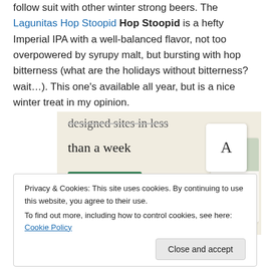follow suit with other winter strong beers. The Lagunitas Hop Stoopid is a hefty Imperial IPA with a well-balanced flavor, not too overpowered by syrupy malt, but bursting with hop bitterness (what are the holidays without bitterness? wait…). This one's available all year, but is a nice winter treat in my opinion.
[Figure (screenshot): Advertisement banner with text 'designed sites in less than a week', an Explore options button, and UI mockup screenshots on a beige/cream background.]
Privacy & Cookies: This site uses cookies. By continuing to use this website, you agree to their use.
To find out more, including how to control cookies, see here: Cookie Policy
Close and accept